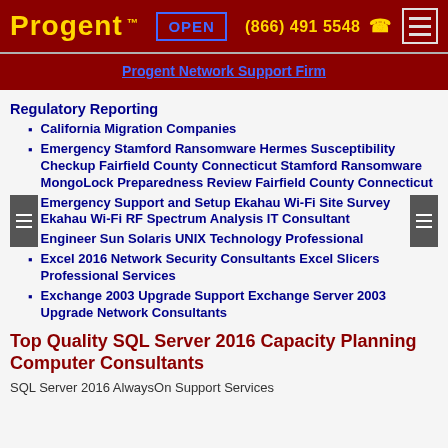Progent ™ OPEN (866) 491 5548
Progent Network Support Firm
Regulatory Reporting
California Migration Companies
Emergency Stamford Ransomware Hermes Susceptibility Checkup Fairfield County Connecticut Stamford Ransomware MongoLock Preparedness Review Fairfield County Connecticut
Emergency Support and Setup Ekahau Wi-Fi Site Survey Ekahau Wi-Fi RF Spectrum Analysis IT Consultant
Engineer Sun Solaris UNIX Technology Professional
Excel 2016 Network Security Consultants Excel Slicers Professional Services
Exchange 2003 Upgrade Support Exchange Server 2003 Upgrade Network Consultants
Top Quality SQL Server 2016 Capacity Planning Computer Consultants
SQL Server 2016 AlwaysOn Support Services